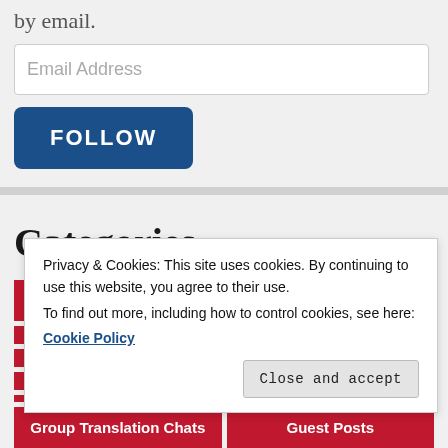by email.
Email Address
FOLLOW
Categories
Articles en français
Art of Translation
Group Translation Chats
Guest Posts
Privacy & Cookies: This site uses cookies. By continuing to use this website, you agree to their use.
To find out more, including how to control cookies, see here:
Cookie Policy
Close and accept